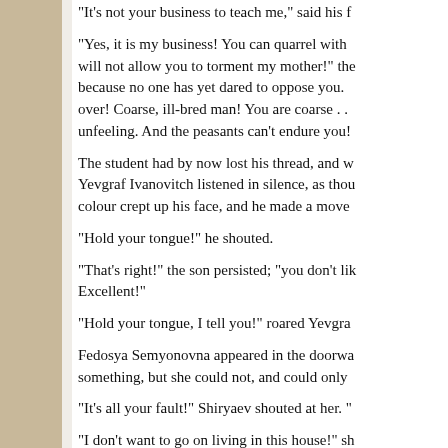"It's not your business to teach me," said his f
"Yes, it is my business! You can quarrel with me as much as you please, but I will not allow you to torment my mother!" the student went on. "You bully because no one has yet dared to oppose you. You have had it all your own over! Coarse, ill-bred man! You are coarse . . . do you understand? Coarse, unfeeling. And the peasants can't endure you!
The student had by now lost his thread, and was not speaking but shooting. Yevgraf Ivanovitch listened in silence, as though petrified. But suddenly a colour crept up his face, and he made a move
"Hold your tongue!" he shouted.
"That's right!" the son persisted; "you don't lik Excellent!"
"Hold your tongue, I tell you!" roared Yevgra
Fedosya Semyonovna appeared in the doorwa something, but she could not, and could only
"It's all your fault!" Shiryaev shouted at her. "
"I don't want to go on living in this house!" sh "I don't want to live with you!"
Varvara uttered a shriek behind the screen and ran out of the house.